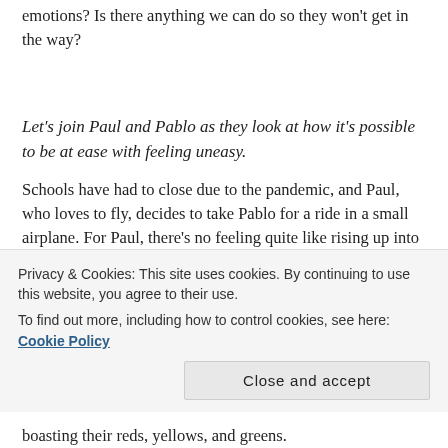emotions? Is there anything we can do so they won't get in the way?
Let's join Paul and Pablo as they look at how it's possible to be at ease with feeling uneasy.
Schools have had to close due to the pandemic, and Paul, who loves to fly, decides to take Pablo for a ride in a small airplane. For Paul, there's no feeling quite like rising up into the air, zooming out from the reality on
boasting their reds, yellows, and greens.
Privacy & Cookies: This site uses cookies. By continuing to use this website, you agree to their use.
To find out more, including how to control cookies, see here: Cookie Policy